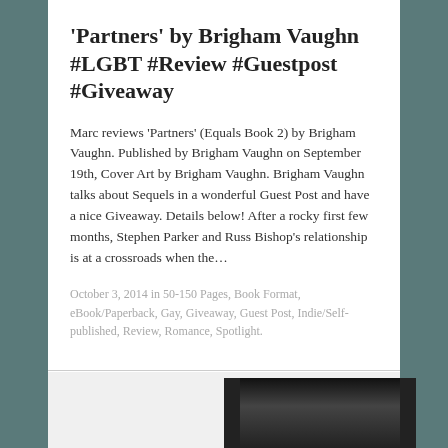'Partners' by Brigham Vaughn #LGBT #Review #Guestpost #Giveaway
Marc reviews 'Partners' (Equals Book 2) by Brigham Vaughn. Published by Brigham Vaughn on September 19th, Cover Art by Brigham Vaughn. Brigham Vaughn talks about Sequels in a wonderful Guest Post and have a nice Giveaway. Details below! After a rocky first few months, Stephen Parker and Russ Bishop's relationship is at a crossroads when the…
October 3, 2014 in 50-150 Pages, Book Format, eBook/Paperback, Gay, Giveaway, Guest Post, Indie/Self-published, Review, Romance, Spotlight.
[Figure (photo): Partial black and white photo visible at the bottom of the page, appears to be a person]